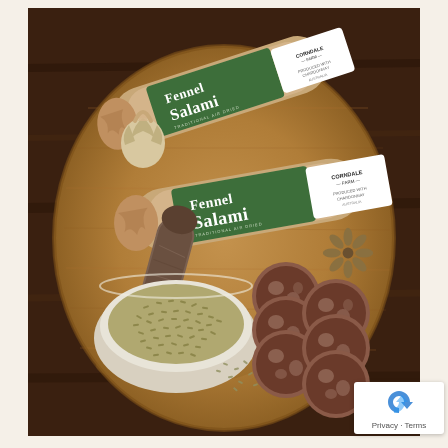[Figure (photo): Overhead product photo of Corndale Farm Fennel Salami on a round wooden cutting board. Two salami packages wrapped in brown kraft paper with green labels reading 'Fennel Salami' and 'Corndale Farm' are shown at the top. A whole unwrapped salami log sits in the middle-left. A ceramic bowl filled with fennel seeds is in the lower-left. Sliced salami rounds are arranged in the lower-right. Star anise and scattered fennel seeds are visible. The board rests on a dark wooden surface.]
Privacy · Terms